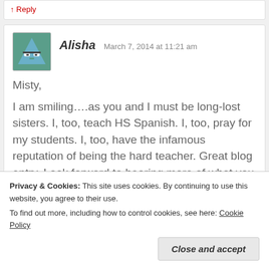↑ Reply
Alisha   March 7, 2014 at 11:21 am
Misty,

I am smiling….as you and I must be long-lost sisters. I, too, teach HS Spanish. I, too, pray for my students. I, too, have the infamous reputation of being the hard teacher. Great blog entry. Look forward to hearing more of what you have to say!

¡Que siempre seamos así!
Privacy & Cookies: This site uses cookies. By continuing to use this website, you agree to their use.
To find out more, including how to control cookies, see here: Cookie Policy